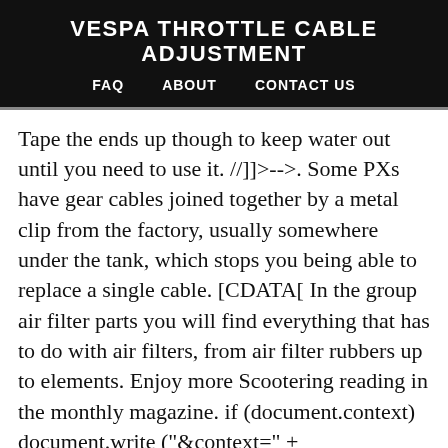VESPA THROTTLE CABLE ADJUSTMENT
FAQ   ABOUT   CONTACT US
Tape the ends up though to keep water out until you need to use it. //]]>-->. Some PXs have gear cables joined together by a metal clip from the factory, usually somewhere under the tank, which stops you being able to replace a single cable. [CDATA[ In the group air filter parts you will find everything that has to do with air filters, from air filter rubbers up to elements. Enjoy more Scootering reading in the monthly magazine. if (document.context) document.write ("&context=" + escape(document.context)); From United